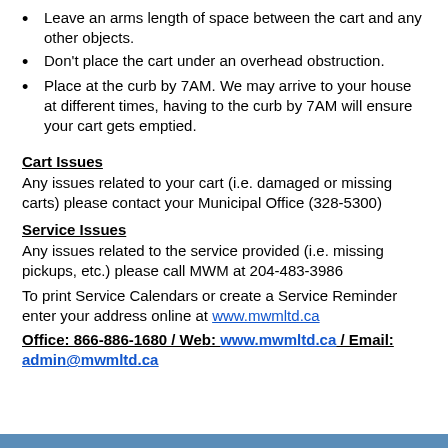Leave an arms length of space between the cart and any other objects.
Don't place the cart under an overhead obstruction.
Place at the curb by 7AM. We may arrive to your house at different times, having to the curb by 7AM will ensure your cart gets emptied.
Cart Issues
Any issues related to your cart (i.e. damaged or missing carts) please contact your Municipal Office (328-5300)
Service Issues
Any issues related to the service provided (i.e. missing pickups, etc.) please call MWM at 204-483-3986
To print Service Calendars or create a Service Reminder enter your address online at www.mwmltd.ca
Office: 866-886-1680 / Web: www.mwmltd.ca / Email: admin@mwmltd.ca